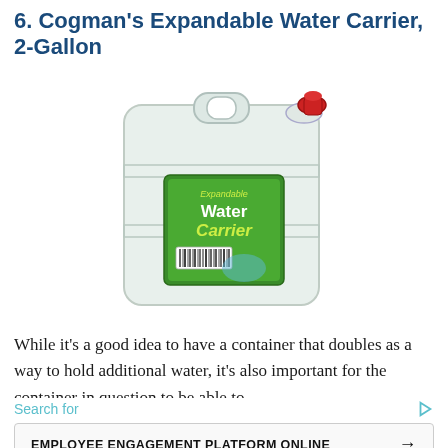6. Cogman's Expandable Water Carrier, 2-Gallon
[Figure (photo): Photo of a translucent plastic 2-gallon expandable water carrier jug with a red cap/spout on the upper right, and a green label reading 'Expandable Water Carrier' with a barcode, on a white background.]
While it's a good idea to have a container that doubles as a way to hold additional water, it's also important for the container in question to be able to
Search for
EMPLOYEE ENGAGEMENT PLATFORM ONLINE →
TOP FLEET MAINTENANCE SOFTWARE TOOLS →
Yahoo! Search | Sponsored